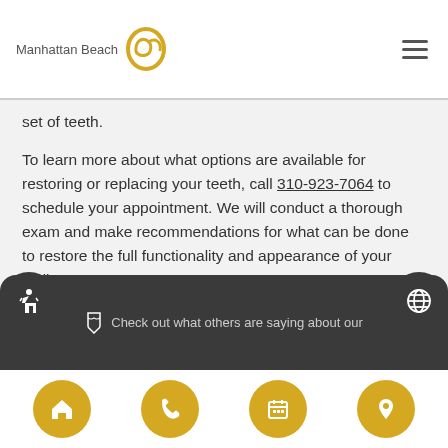[Figure (logo): Manhattan Beach dental clinic logo with stylized yellow cursive icon and gray text]
set of teeth.
To learn more about what options are available for restoring or replacing your teeth, call 310-923-7064 to schedule your appointment. We will conduct a thorough exam and make recommendations for what can be done to restore the full functionality and appearance of your smile.
Check out what others are saying about our